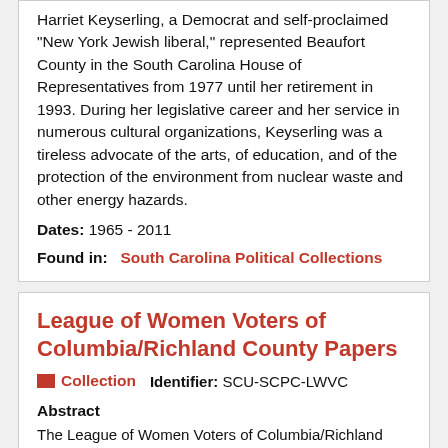Harriet Keyserling, a Democrat and self-proclaimed "New York Jewish liberal," represented Beaufort County in the South Carolina House of Representatives from 1977 until her retirement in 1993. During her legislative career and her service in numerous cultural organizations, Keyserling was a tireless advocate of the arts, of education, and of the protection of the environment from nuclear waste and other energy hazards.
Dates: 1965 - 2011
Found in: South Carolina Political Collections
League of Women Voters of Columbia/Richland County Papers
Collection   Identifier: SCU-SCPC-LWVC
Abstract
The League of Women Voters of Columbia/Richland County (S.C.) was organized as a provisional league in 1947, and recognized as a local league in 1950, one year after the recognition of the Charleston and Spartanburg leagues. These three local organizations